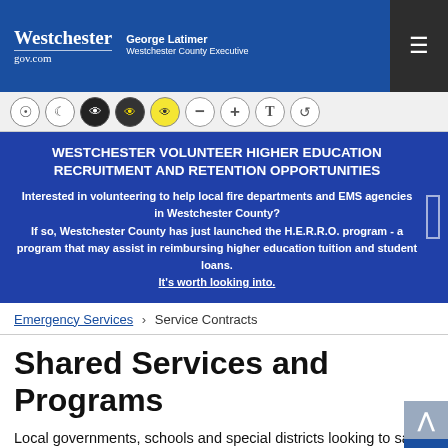[Figure (logo): Westchestergov.com logo with George Latimer, Westchester County Executive text on blue background, with hamburger menu icon in dark corner]
[Figure (screenshot): Accessibility toolbar with icons: sun, moon, dark/yellow/inverted eye contrast buttons, minus, plus, T font size, reset]
WESTCHESTER VOLUNTEER HIGHER EDUCATION RECRUITMENT AND RETENTION OPPORTUNITIES
Interested in volunteering to help local fire departments and EMS agencies in Westchester County?
If so, Westchester County has just launched the H.E.R.R.O. program - a program that may assist in reimbursing higher education tuition and student loans.
It's worth looking into.
Emergency Services › Service Contracts
Shared Services and Programs
Local governments, schools and special districts looking to save money should check out the shared